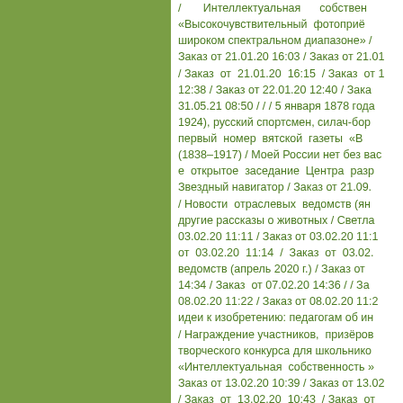/ Интеллектуальная собственность / «Высокочувствительный фотоприёмник в широком спектральном диапазоне» / Заказ от 21.01.20 16:03 / Заказ от 21.01.20 / Заказ от 21.01.20 16:15 / Заказ от 21.01.20 12:38 / Заказ от 22.01.20 12:40 / Заказ от 31.05.21 08:50 / / / 5 января 1878 года 1924), русский спортсмен, силач-борец / первый номер вятской газеты «В» (1838–1917) / Моей России нет без вас / е открытое заседание Центра разработки / Звездный навигатор / Заказ от 21.09. / Новости отраслевых ведомств (ян) / другие рассказы о животных / Светла / 03.02.20 11:11 / Заказ от 03.02.20 11:1 / от 03.02.20 11:14 / Заказ от 03.02. / ведомств (апрель 2020 г.) / Заказ от 14:34 / Заказ от 07.02.20 14:36 / / За / 08.02.20 11:22 / Заказ от 08.02.20 11:2 / идеи к изобретению: педагогам об ин / Награждение участников, призёров / творческого конкурса для школьников / «Интеллектуальная собственность» / Заказ от 13.02.20 10:39 / Заказ от 13.02. / Заказ от 13.02.20 10:43 / Заказ от 10:45 / Заказ от 13.02.20 10:46 / Труди / / / • Февраль 2020 г. / 2 февраля 1928 / В. В. Маяковский / 17 февраля 193 / (1938–2014), главный дирижёр Вятск / Город бабушек / ИГРЫ С ЦИФРА